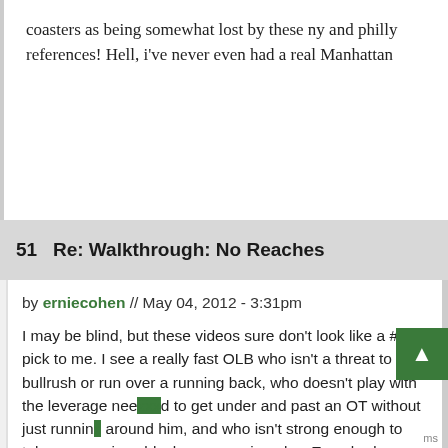coasters as being somewhat lost by these ny and philly references! Hell, i've never even had a real Manhattan
51   Re: Walkthrough: No Reaches
by erniecohen // May 04, 2012 - 3:31pm
I may be blind, but these videos sure don't look like a #15 pick to me. I see a really fast OLB who isn't a threat to bullrush or run over a running back, who doesn't play with the leverage needed to get under and past an OT without just running around him, and who isn't strong enough to take on a serious block on a running play. Everybody complains about Poe's lack of production, but frankly he looked just about as impressive